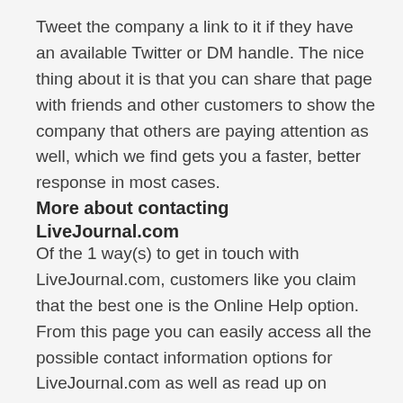Tweet the company a link to it if they have an available Twitter or DM handle. The nice thing about it is that you can share that page with friends and other customers to show the company that others are paying attention as well, which we find gets you a faster, better response in most cases.
More about contacting LiveJournal.com
Of the 1 way(s) to get in touch with LiveJournal.com, customers like you claim that the best one is the Online Help option. From this page you can easily access all the possible contact information options for LiveJournal.com as well as read up on common problems that other customers are having, find out how to fix the most popular ones, read reviews, and